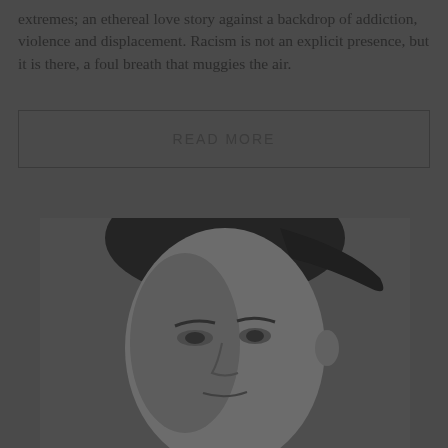extremes; an ethereal love story against a backdrop of addiction, violence and displacement. Racism is not an explicit presence, but it is there, a foul breath that muggies the air.
READ MORE
[Figure (photo): Black and white photograph of a person's face, appearing to be a historical portrait showing a young individual with dark hair.]